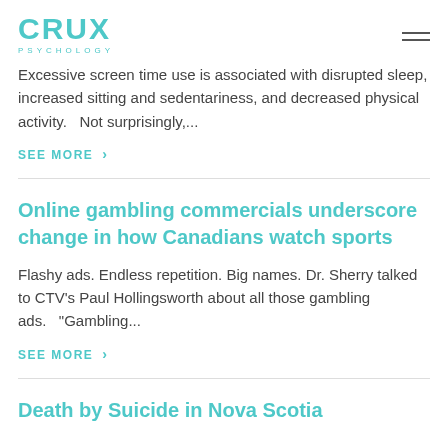CRUX PSYCHOLOGY
Excessive screen time use is associated with disrupted sleep, increased sitting and sedentariness, and decreased physical activity.   Not surprisingly,...
SEE MORE >
Online gambling commercials underscore change in how Canadians watch sports
Flashy ads. Endless repetition. Big names. Dr. Sherry talked to CTV's Paul Hollingsworth about all those gambling ads.   "Gambling...
SEE MORE >
Death by Suicide in Nova Scotia